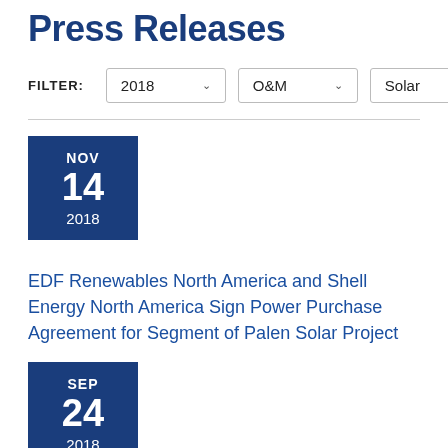Press Releases
FILTER: 2018  O&M  Solar
NOV 14 2018
EDF Renewables North America and Shell Energy North America Sign Power Purchase Agreement for Segment of Palen Solar Project
SEP 24 2018